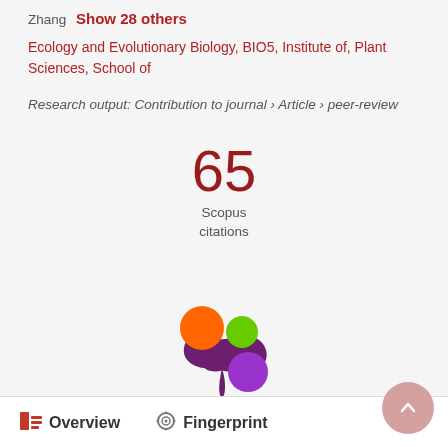Zhang   Show 28 others
Ecology and Evolutionary Biology, BIO5, Institute of, Plant Sciences, School of
Research output: Contribution to journal › Article › peer-review
65
Scopus
citations
[Figure (logo): Altmetric donut/flower logo with orange, green, and purple circles connected by a purple splat shape]
Overview   Fingerprint